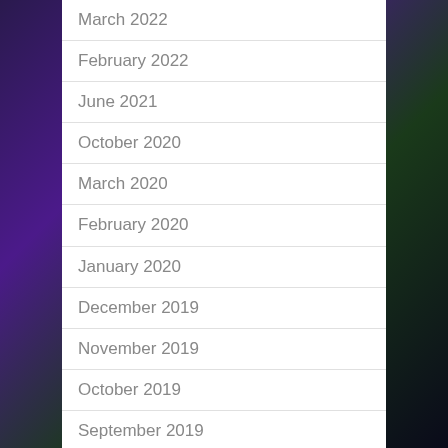March 2022
February 2022
June 2021
October 2020
March 2020
February 2020
January 2020
December 2019
November 2019
October 2019
September 2019
August 2019
July 2019
June 2019